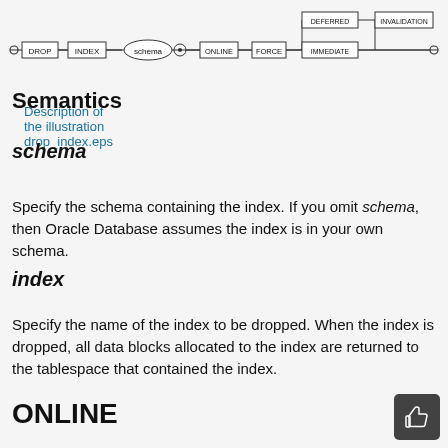[Figure (schematic): Railroad/syntax diagram for DROP INDEX SQL statement showing nodes: DROP, INDEX, schema, dot, index, ONLINE, FORCE, and a branch with DEFERRED/IMMEDIATE INVALIDATION]
Description of the illustration drop_index.eps
Semantics
schema
Specify the schema containing the index. If you omit schema, then Oracle Database assumes the index is in your own schema.
index
Specify the name of the index to be dropped. When the index is dropped, all data blocks allocated to the index are returned to the tablespace that contained the index.
ONLINE